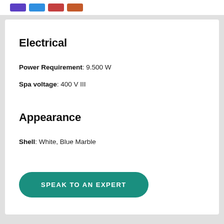Electrical
Power Requirement: 9.500 W
Spa voltage: 400 V III
Appearance
Shell: White, Blue Marble
SPEAK TO AN EXPERT